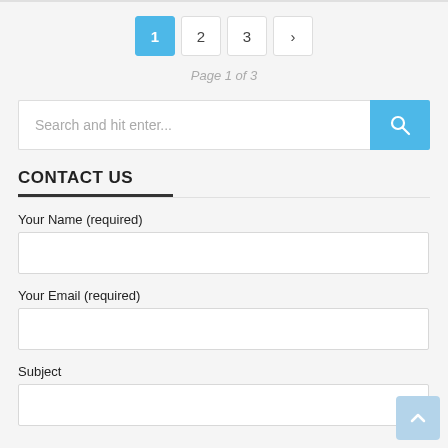1  2  3  >  Page 1 of 3
Search and hit enter...
CONTACT US
Your Name (required)
Your Email (required)
Subject